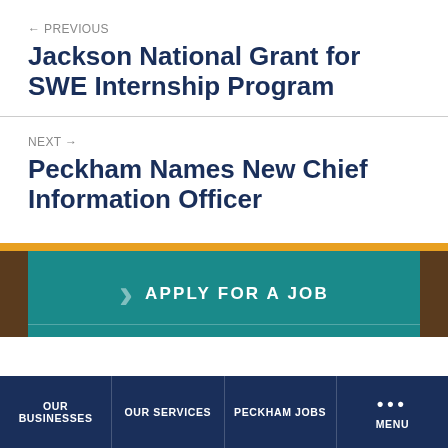← PREVIOUS
Jackson National Grant for SWE Internship Program
NEXT →
Peckham Names New Chief Information Officer
APPLY FOR A JOB
OUR BUSINESSES | OUR SERVICES | PECKHAM JOBS | MENU